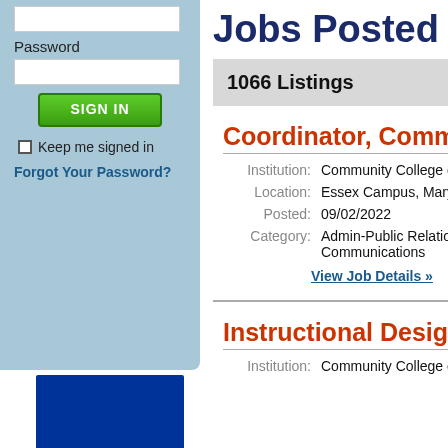Password
SIGN IN
Keep me signed in
Forgot Your Password?
[Figure (logo): University of Kentucky logo on blue/dark banner]
Jobs Posted fro
1066 Listings
Coordinator, Commu
Institution: Community College o
Location: Essex Campus, Maryla
Posted: 09/02/2022
Category: Admin-Public Relations Communications
View Job Details »
Instructional Design
Institution: Community College o